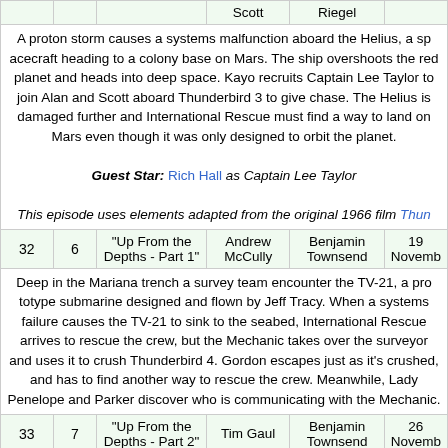|  |  | Scott | Riegel |
| --- | --- | --- | --- |
A proton storm causes a systems malfunction aboard the Helius, a spacecraft heading to a colony base on Mars. The ship overshoots the red planet and heads into deep space. Kayo recruits Captain Lee Taylor to join Alan and Scott aboard Thunderbird 3 to give chase. The Helius is damaged further and International Rescue must find a way to land on Mars even though it was only designed to orbit the planet.
Guest Star: Rich Hall as Captain Lee Taylor
This episode uses elements adapted from the original 1966 film Thun...
| 32 | 6 | "Up From the Depths - Part 1" | Andrew McCully | Benjamin Townsend | 19 Novemb... |
| --- | --- | --- | --- | --- | --- |
Deep in the Mariana trench a survey team encounter the TV-21, a prototype submarine designed and flown by Jeff Tracy. When a systems failure causes the TV-21 to sink to the seabed, International Rescue arrives to rescue the crew, but the Mechanic takes over the surveyor and uses it to crush Thunderbird 4. Gordon escapes just as it's crushed, and has to find another way to rescue the crew. Meanwhile, Lady Penelope and Parker discover who is communicating with the Mechanic.
| 33 | 7 | "Up From the Depths - Part 2" | Tim Gaul | Benjamin Townsend | 26 Novemb... |
| --- | --- | --- | --- | --- | --- |
The Mechanic's remotely operated ship flees the scene with the TV-21, but is unable to capture the enemy ship and suffers damage. The Me... contain iridium, with Ned Tedford inside, and sends his ship into spac... commission Thunderbird 3 is modified with weapons so that Alan, wit... ship while Scott tries to recover the vault and the TV-21. Meanwhile...